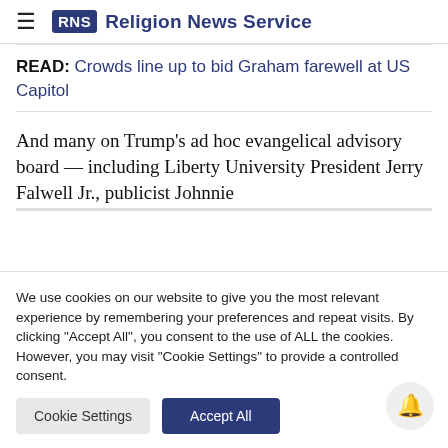RNS Religion News Service
READ: Crowds line up to bid Graham farewell at US Capitol
And many on Trump's ad hoc evangelical advisory board — including Liberty University President Jerry Falwell Jr., publicist Johnnie
We use cookies on our website to give you the most relevant experience by remembering your preferences and repeat visits. By clicking "Accept All", you consent to the use of ALL the cookies. However, you may visit "Cookie Settings" to provide a controlled consent.